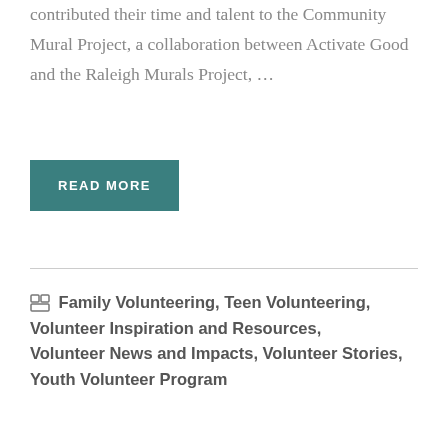contributed their time and talent to the Community Mural Project, a collaboration between Activate Good and the Raleigh Murals Project, …
READ MORE
Family Volunteering, Teen Volunteering, Volunteer Inspiration and Resources, Volunteer News and Impacts, Volunteer Stories, Youth Volunteer Program